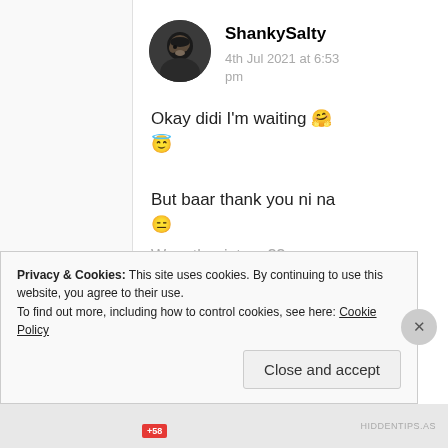ShankySalty
4th Jul 2021 at 6:53 pm
Okay didi I'm waiting 🤗 😇
But baar thank you ni na 😑
Privacy & Cookies: This site uses cookies. By continuing to use this website, you agree to their use. To find out more, including how to control cookies, see here: Cookie Policy
Close and accept